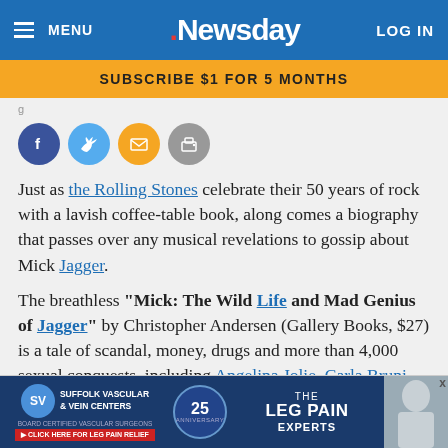MENU | Newsday | LOG IN
SUBSCRIBE $1 FOR 5 MONTHS
[Figure (other): Social sharing icons: Facebook, Twitter, Email, Print]
Just as the Rolling Stones celebrate their 50 years of rock with a lavish coffee-table book, along comes a biography that passes over any musical revelations to gossip about Mick Jagger.
The breathless "Mick: The Wild Life and Mad Genius of Jagger" by Christopher Andersen (Gallery Books, $27) is a tale of scandal, money, drugs and more than 4,000 sexual conquests, including Angelina Jolie, Carla Bruni, Jerry Hall's … vampi…
[Figure (other): Advertisement banner for Suffolk Vascular & Vein Centers - 25th Anniversary - The Leg Pain Experts]